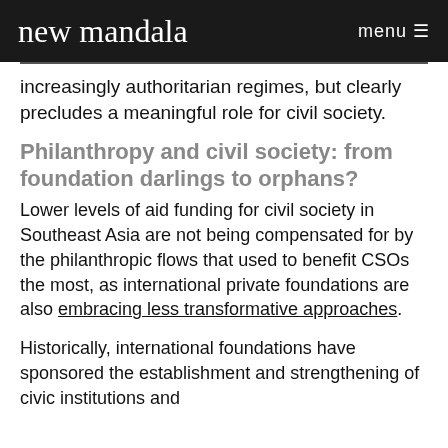new mandala   menu ≡
increasingly authoritarian regimes, but clearly precludes a meaningful role for civil society.
Philanthropy and civil society: from foundation darlings to orphans?
Lower levels of aid funding for civil society in Southeast Asia are not being compensated for by the philanthropic flows that used to benefit CSOs the most, as international private foundations are also embracing less transformative approaches.
Historically, international foundations have sponsored the establishment and strengthening of civic institutions and